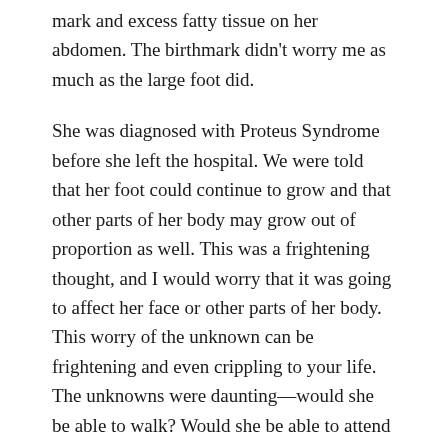mark and excess fatty tissue on her abdomen. The birthmark didn't worry me as much as the large foot did.
She was diagnosed with Proteus Syndrome before she left the hospital. We were told that her foot could continue to grow and that other parts of her body may grow out of proportion as well. This was a frightening thought, and I would worry that it was going to affect her face or other parts of her body. This worry of the unknown can be frightening and even crippling to your life. The unknowns were daunting—would she be able to walk? Would she be able to attend school? Would she have any developmental delays?